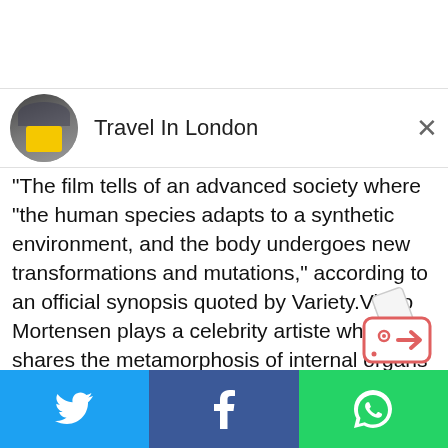[Figure (screenshot): Circular avatar showing a crowd photo with a person in a yellow shirt]
Travel In London
"The film tells of an advanced society where "the human species adapts to a synthetic environment, and the body undergoes new transformations and mutations," according to an official synopsis quoted by Variety.Viggo Mortensen plays a celebrity artiste who shares the metamorphosis of internal organs as performance pieces, with the help of his partner Lea Seydoux.
[Figure (illustration): Bot/robot icon with an arrow pointing right, styled like a TV/robot face]
Twitter | Facebook | WhatsApp share buttons